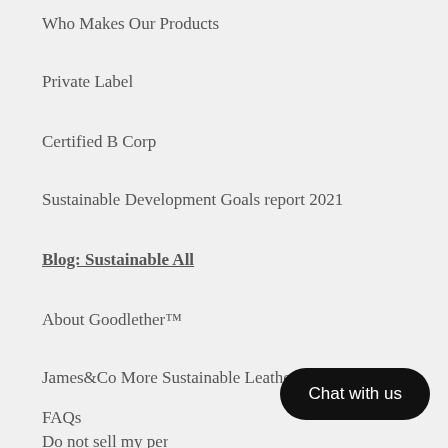Who Makes Our Products
Private Label
Certified B Corp
Sustainable Development Goals report 2021
Blog: Sustainable All
About Goodlether™
James&Co More Sustainable Leather Fabrics
FAQs
Do not sell my personal information